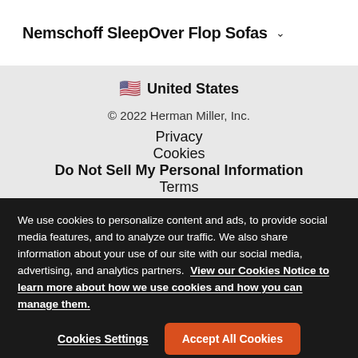Nemschoff SleepOver Flop Sofas
United States
© 2022 Herman Miller, Inc.
Privacy
Cookies
Do Not Sell My Personal Information
Terms
We use cookies to personalize content and ads, to provide social media features, and to analyze our traffic. We also share information about your use of our site with our social media, advertising, and analytics partners. View our Cookies Notice to learn more about how we use cookies and how you can manage them.
Cookies Settings
Accept All Cookies